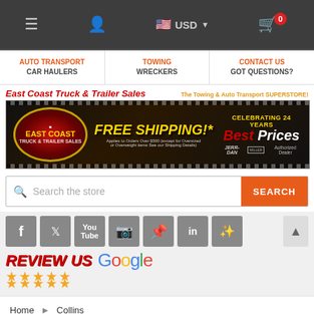Navigation bar with menu, user icon, USD currency selector, and cart (0)
AUTO TRANSPORT / CAR HAULERS | TOWING / WRECKERS | CONTACT US / GOT QUESTIONS?
[Figure (screenshot): East Coast Truck & Trailer Sales banner. The Towing & Auto Transport SUPERSTORE! FREE SHIPPING!* Best Prices. CELEBRATING 24 YEARS. Authorized Dealer. JERR-DAN.]
Search the store
[Figure (other): Social media icons: Facebook, Twitter, YouTube, Instagram, Pinterest, LinkedIn, Yelp]
REVIEW US Google (5 stars)
Home > Collins
Collins
SHOW SIDEBAR +